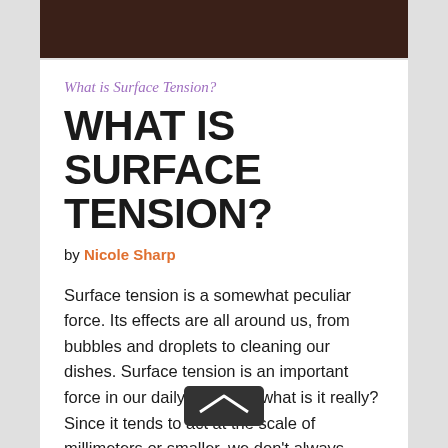[Figure (photo): Dark brown header image band at top of page]
What is Surface Tension?
WHAT IS SURFACE TENSION?
by Nicole Sharp
Surface tension is a somewhat peculiar force. Its effects are all around us, from bubbles and droplets to cleaning our dishes. Surface tension is an important force in our daily lives. But what is it really? Since it tends to act at the scale of millimeters or smaller, we don't always notice it. It's critical, however, for many creatures smaller than us, from water-walking insects to star-nosed moles that sniff out food underwater. So what is surface tension and where does it come from?